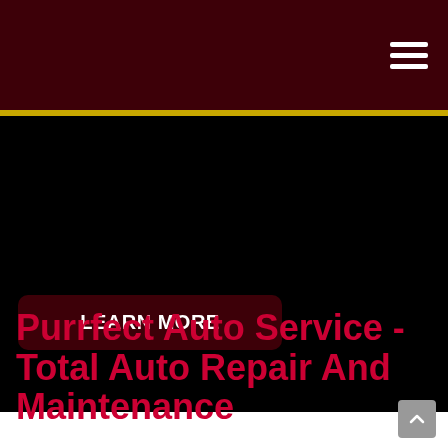LEARN MORE
Purrfect Auto Service - Total Auto Repair And Maintenance
At Purrfect Auto Service of Montclair, we happily serve the auto maintenance needs of families, business owners, fleet companies and more in the area.